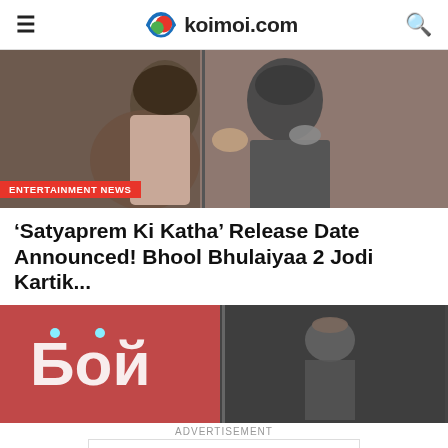koimoi.com
[Figure (photo): Couple nearly kissing in romantic scene, with 'ENTERTAINMENT NEWS' badge at bottom left]
'Satyaprem Ki Katha' Release Date Announced! Bhool Bhulaiyaa 2 Jodi Kartik...
[Figure (photo): Two images side by side: left shows a stylized logo on red/pink background, right shows a dark action movie scene]
ADVERTISEMENT
[Figure (screenshot): Advertisement banner: arrow play icon, green circle plus icon, checkmark, 'In-store shopping', blue diamond arrow icon]